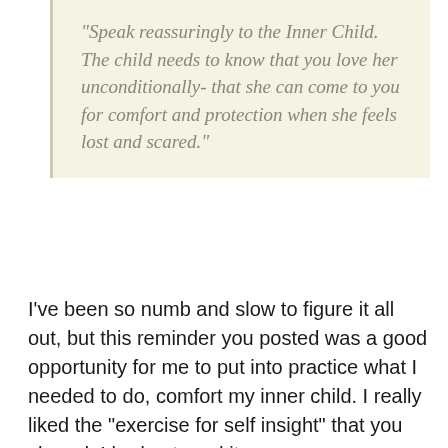"Speak reassuringly to the Inner Child. The child needs to know that you love her unconditionally- that she can come to you for comfort and protection when she feels lost and scared."
I've been so numb and slow to figure it all out, but this reminder you posted was a good opportunity for me to put into practice what I needed to do, comfort my inner child. I really liked the "exercise for self insight" that you shared. I had not read it